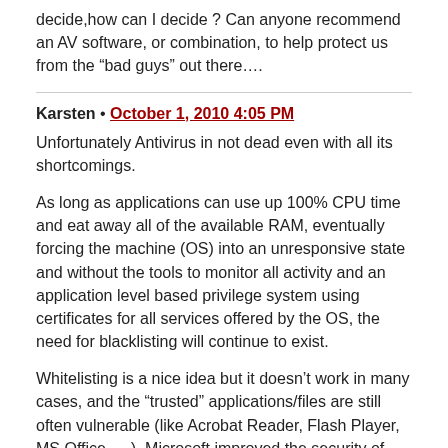decide,how can I decide ? Can anyone recommend an AV software, or combination, to help protect us from the “bad guys” out there….
Karsten • October 1, 2010 4:05 PM
Unfortunately Antivirus in not dead even with all its shortcomings.
As long as applications can use up 100% CPU time and eat away all of the available RAM, eventually forcing the machine (OS) into an unresponsive state and without the tools to monitor all activity and an application level based privilege system using certificates for all services offered by the OS, the need for blacklisting will continue to exist.
Whitelisting is a nice idea but it doesn’t work in many cases, and the “trusted” applications/files are still often vulnerable (like Acrobat Reader, Flash Player, MS Office…..). Microsoft improved the security of Windows greatly over the last years, but it’s no use if the rest of the market doesn’t react.
Also sorry for my English.